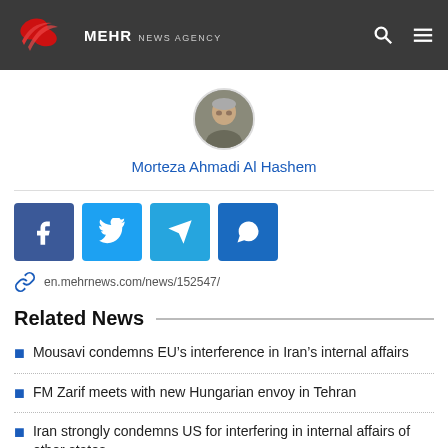MEHR NEWS AGENCY
[Figure (photo): Circular author avatar photo of Morteza Ahmadi Al Hashem]
Morteza Ahmadi Al Hashem
[Figure (infographic): Social share buttons: Facebook, Twitter, Telegram, WhatsApp]
en.mehrnews.com/news/152547/
Related News
Mousavi condemns EU's interference in Iran's internal affairs
FM Zarif meets with new Hungarian envoy in Tehran
Iran strongly condemns US for interfering in internal affairs of other states
Iran foreign ministry summons Swiss envoy